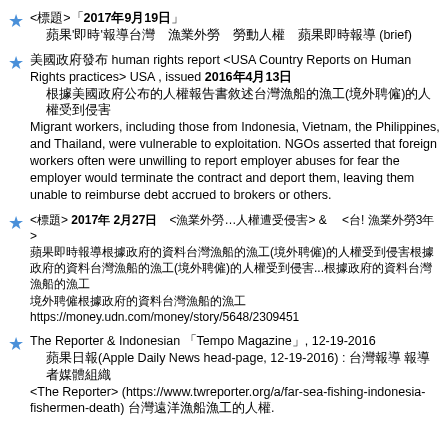<標題>「2017年9月19日」 蘋果'即時'報導台灣 漁業外勞 勞動人權 (brief)
美國政府發布 human rights report <USA Country Reports on Human Rights practices> USA , issued 2016年4月13日 根據美國政府公布的人權報告書敘述台灣漁船的漁工(境外聘僱)的人權受到侵害Migrant workers, including those from Indonesia, Vietnam, the Philippines, and Thailand, were vulnerable to exploitation.  NGOs asserted that foreign workers often were unwilling to report employer abuses for fear the employer would terminate the contract and deport them, leaving them unable to reimburse debt accrued to brokers or others.
<標題> 2017年 2月27日 <漁業外勞…人權遭受侵害> & <台! 漁業外勞3年> 蘋果即時報導根據政府的資料台灣漁船的漁工(境外聘僱)的人權受到侵害...根據政府的資料台灣漁船的漁工境外聘僱https://money.udn.com/money/story/5648/2309451
The Reporter & Indonesian 「Tempo Magazine」, 12-19-2016 蘋果日報(Apple Daily News head-page, 12-19-2016) : 台灣報導 報導者媒體組織 <The Reporter> (https://www.twreporter.org/a/far-sea-fishing-indonesia-fishermen-death) 台灣遠洋漁船漁工的人權.